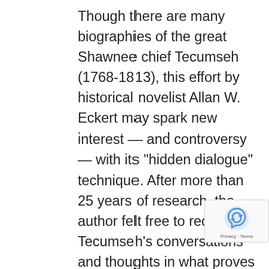Though there are many biographies of the great Shawnee chief Tecumseh (1768-1813), this effort by historical novelist Allan W. Eckert may spark new interest — and controversy — with its "hidden dialogue" technique. After more than 25 years of research, the author felt free to recreate Tecumseh's conversations and thoughts in what proves to be an entertaining blend of fact and fiction. The orator and organizer's life was shaped by his tribe's tragic confrontation with westward-moving whites, who encroached on Native American lands along the Ohio River valley. His long